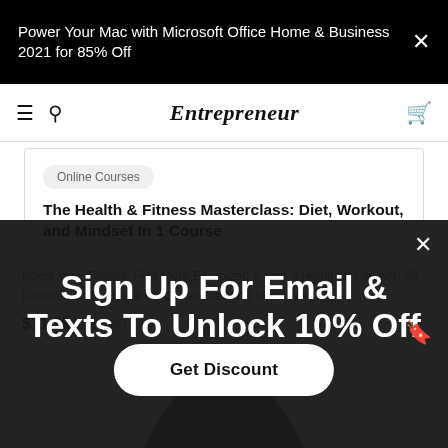Power Your Mac with Microsoft Office Home & Business 2021 for 85% Off
Entrepreneur
Online Courses
The Health & Fitness Masterclass: Diet, Workout, and Mindset In 1 Course
Boost Your Fitness, Feel More Energized & Live a Healthier Life with 60 Lectures on the Right Diet, Exercises and Motivation
$11.99  $200.00
Sign Up For Email & Texts To Unlock 10% Off
Get Discount